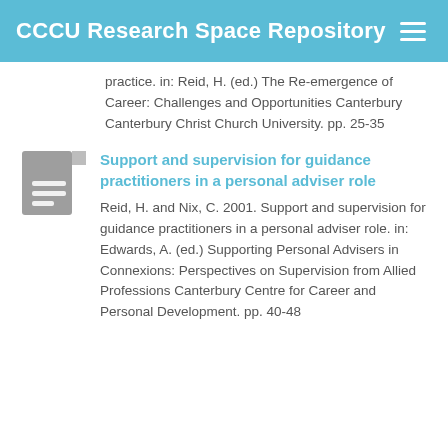CCCU Research Space Repository
practice. in: Reid, H. (ed.) The Re-emergence of Career: Challenges and Opportunities Canterbury Canterbury Christ Church University. pp. 25-35
[Figure (illustration): Grey document icon with lines representing text]
Support and supervision for guidance practitioners in a personal adviser role
Reid, H. and Nix, C. 2001. Support and supervision for guidance practitioners in a personal adviser role. in: Edwards, A. (ed.) Supporting Personal Advisers in Connexions: Perspectives on Supervision from Allied Professions Canterbury Centre for Career and Personal Development. pp. 40-48